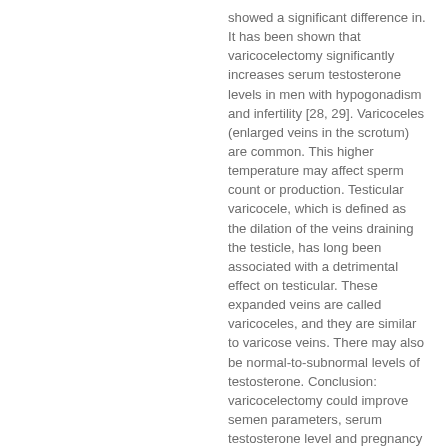showed a significant difference in. It has been shown that varicocelectomy significantly increases serum testosterone levels in men with hypogonadism and infertility [28, 29]. Varicoceles (enlarged veins in the scrotum) are common. This higher temperature may affect sperm count or production. Testicular varicocele, which is defined as the dilation of the veins draining the testicle, has long been associated with a detrimental effect on testicular. These expanded veins are called varicoceles, and they are similar to varicose veins. There may also be normal-to-subnormal levels of testosterone. Conclusion: varicocelectomy could improve semen parameters, serum testosterone level and pregnancy rate. In the varicocele group, the adjusted testosterone levels insig-nificantly increased to 594 ± 243 ng/ml.